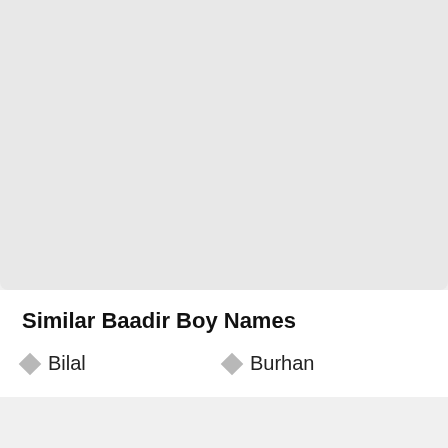Similar Baadir Boy Names
Bilal
Burhan